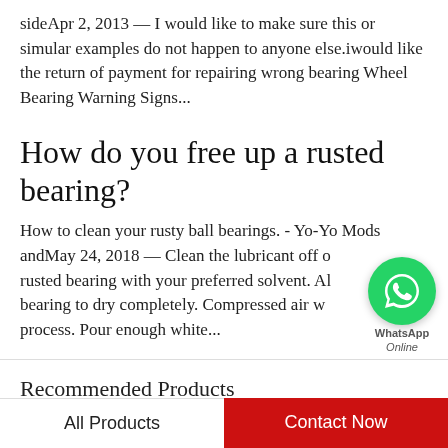sideApr 2, 2013 — I would like to make sure this or simular examples do not happen to anyone else.iwould like the return of payment for repairing wrong bearing Wheel Bearing Warning Signs...
How do you free up a rusted bearing?
How to clean your rusty ball bearings. - Yo-Yo Mods andMay 24, 2018 — Clean the lubricant off of your rusted bearing with your preferred solvent. Allow the bearing to dry completely. Compressed air will speed the process. Pour enough white...
Recommended Products
[Figure (photo): Two product images: left shows a silver/chrome round bearing on a light blue-gray background, right shows a gray tapered roller bearing on a light background.]
All Products   Contact Now